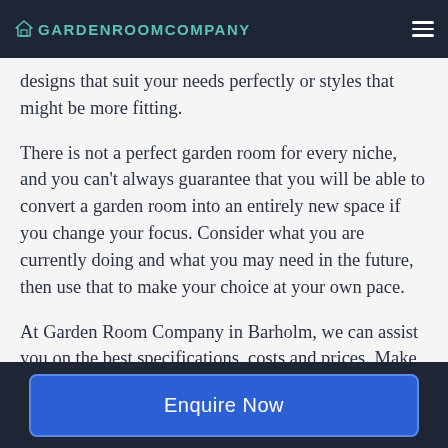GARDEN ROOM COMPANY
designs that suit your needs perfectly or styles that might be more fitting.
There is not a perfect garden room for every niche, and you can't always guarantee that you will be able to convert a garden room into an entirely new space if you change your focus. Consider what you are currently doing and what you may need in the future, then use that to make your choice at your own pace.
At Garden Room Company in Barholm, we can assist you on the best specifications, costs and prices. Make sure you contact us today for a
Enquire Now